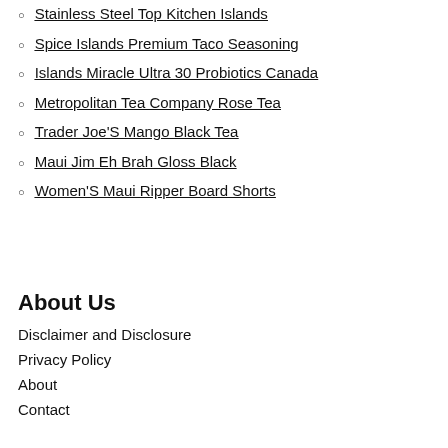Stainless Steel Top Kitchen Islands
Spice Islands Premium Taco Seasoning
Islands Miracle Ultra 30 Probiotics Canada
Metropolitan Tea Company Rose Tea
Trader Joe'S Mango Black Tea
Maui Jim Eh Brah Gloss Black
Women'S Maui Ripper Board Shorts
About Us
Disclaimer and Disclosure
Privacy Policy
About
Contact